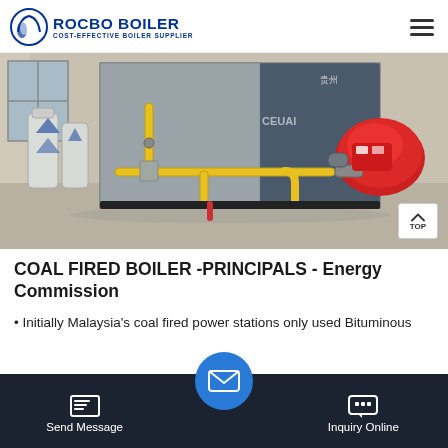ROCBO BOILER — COST-EFFECTIVE BOILER SUPPLIER
[Figure (photo): Industrial boiler equipment in an indoor facility. A large blue rectangular boiler tank is visible with yellow gas pipes and connections, and a red burner unit attached on the right side. White cylindrical tanks are visible on the left.]
COAL FIRED BOILER -PRINCIPALS - Energy Commission
Initially Malaysia's coal fired power stations only used Bituminous
Send Message | [email icon] | Inquiry Online